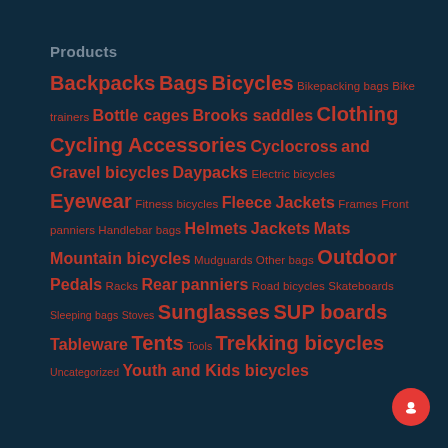Products
Backpacks Bags Bicycles Bikepacking bags Bike trainers Bottle cages Brooks saddles Clothing Cycling Accessories Cyclocross and Gravel bicycles Daypacks Electric bicycles Eyewear Fitness bicycles Fleece Jackets Frames Front panniers Handlebar bags Helmets Jackets Mats Mountain bicycles Mudguards Other bags Outdoor Pedals Racks Rear panniers Road bicycles Skateboards Sleeping bags Stoves Sunglasses SUP boards Tableware Tents Tools Trekking bicycles Uncategorized Youth and Kids bicycles